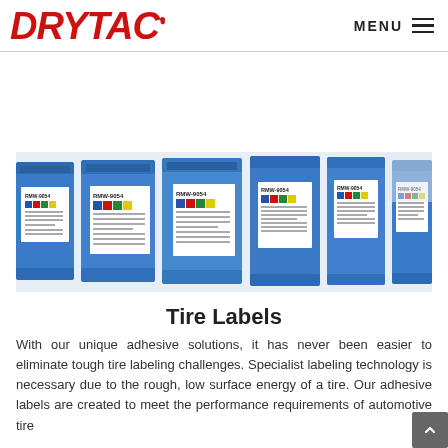DRYTAC | MENU
[Figure (photo): Row of blue industrial drums with white labels reading RMW-9054, featuring NFPA hazard diamond labels in red, blue, green, and yellow, arranged in a line perspective view]
Tire Labels
With our unique adhesive solutions, it has never been easier to eliminate tough tire labeling challenges. Specialist labeling technology is necessary due to the rough, low surface energy of a tire. Our adhesive labels are created to meet the performance requirements of automotive tire